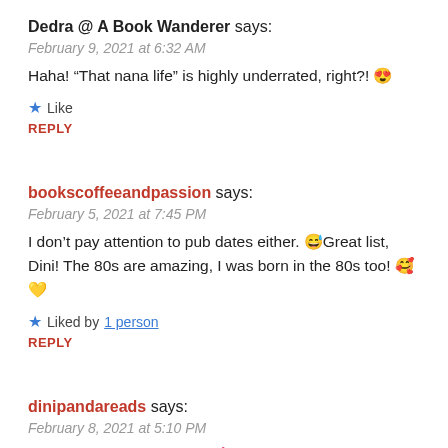Dedra @ A Book Wanderer says:
February 9, 2021 at 6:32 AM
Haha! “That nana life” is highly underrated, right?! 😍
★ Like
REPLY
bookscoffeeandpassion says:
February 5, 2021 at 7:45 PM
I don’t pay attention to pub dates either. 😅 Great list, Dini! The 80s are amazing, I was born in the 80s too! 🥰 💛
★ Liked by 1 person
REPLY
dinipandareads says:
February 8, 2021 at 5:10 PM
You for being 80s babies! 💕